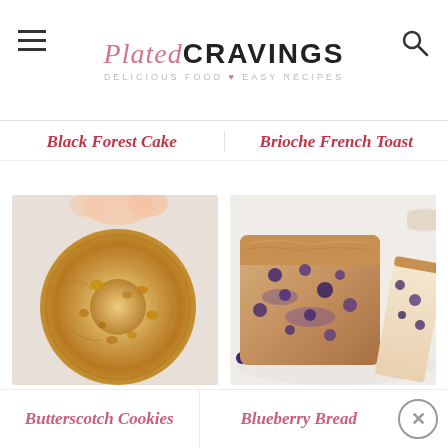Plated CRAVINGS — DELICIOUS FOOD ♥ EASY RECIPES
Black Forest Cake
Brioche French Toast
[Figure (photo): A hand holding a round butterscotch cookie close-up, golden brown with chips, viewed from above]
[Figure (photo): A sliced blueberry bread loaf showing purple-blue blueberries inside, golden crust with cinnamon sugar top]
Butterscotch Cookies
Blueberry Bread